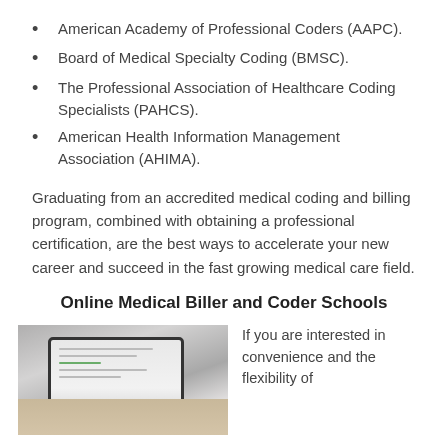American Academy of Professional Coders (AAPC).
Board of Medical Specialty Coding (BMSC).
The Professional Association of Healthcare Coding Specialists (PAHCS).
American Health Information Management Association (AHIMA).
Graduating from an accredited medical coding and billing program, combined with obtaining a professional certification, are the best ways to accelerate your new career and succeed in the fast growing medical care field.
Online Medical Biller and Coder Schools
[Figure (photo): Hands typing on a tablet computer placed on a desk, viewed from above, grayscale/grey tone photo]
If you are interested in convenience and the flexibility of